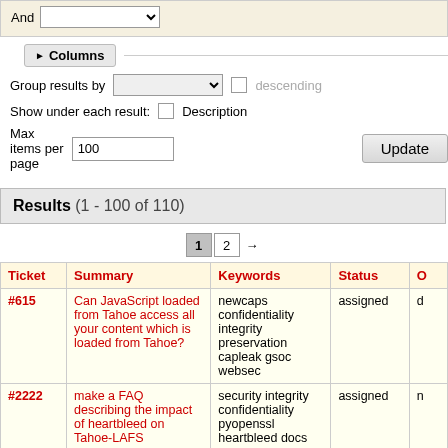And [dropdown]
▶ Columns
Group results by [dropdown] descending
Show under each result: [checkbox] Description
Max items per page 100
Update
Results (1 - 100 of 110)
1 2 →
| Ticket | Summary | Keywords | Status | O |
| --- | --- | --- | --- | --- |
| #615 | Can JavaScript loaded from Tahoe access all your content which is loaded from Tahoe? | newcaps confidentiality integrity preservation capleak gsoc websec | assigned | d |
| #2222 | make a FAQ describing the impact of heartbleed on Tahoe-LAFS | security integrity confidentiality pyopenssl heartbleed docs | assigned | n |